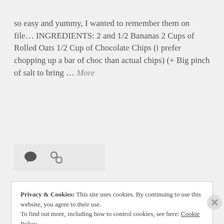so easy and yummy, I wanted to remember them on file… INGREDIENTS: 2 and 1/2 Bananas 2 Cups of Rolled Oats 1/2 Cup of Chocolate Chips (i prefer chopping up a bar of choc than actual chips) (+ Big pinch of salt to bring … More
[Figure (other): Action bar with comment bubble icon and chain link icon on a light grey background]
Privacy & Cookies: This site uses cookies. By continuing to use this website, you agree to their use. To find out more, including how to control cookies, see here: Cookie Policy
Close and accept